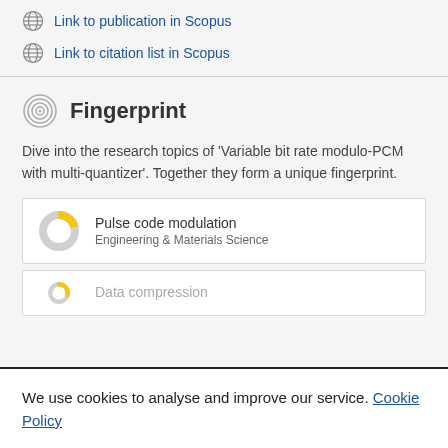Link to publication in Scopus
Link to citation list in Scopus
Fingerprint
Dive into the research topics of 'Variable bit rate modulo-PCM with multi-quantizer'. Together they form a unique fingerprint.
Pulse code modulation
Engineering & Materials Science
Data compression
We use cookies to analyse and improve our service. Cookie Policy